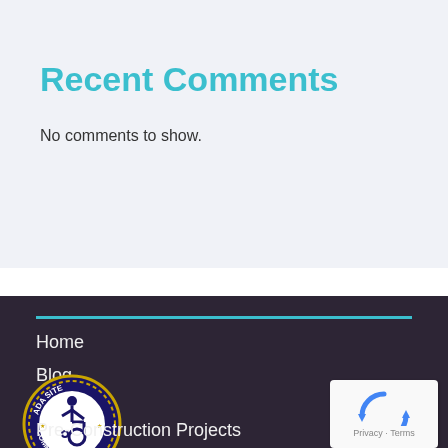Recent Comments
No comments to show.
Home
Blog
[Figure (logo): ADA Site Compliance badge with wheelchair accessibility symbol, circular logo with gold border and dark blue background]
Pre-Construction Projects
[Figure (other): reCAPTCHA widget showing Google reCAPTCHA logo with Privacy and Terms text]